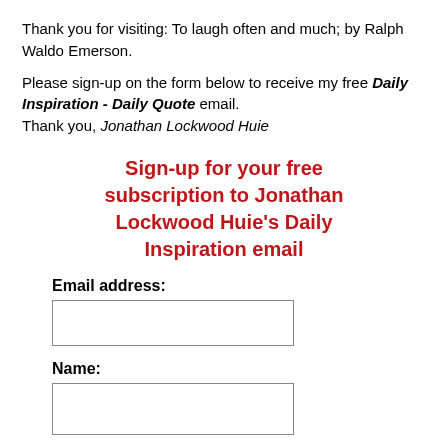Thank you for visiting: To laugh often and much; by Ralph Waldo Emerson.
Please sign-up on the form below to receive my free Daily Inspiration - Daily Quote email.
Thank you, Jonathan Lockwood Huie
Sign-up for your free subscription to Jonathan Lockwood Huie's Daily Inspiration email
Email address:
Name: